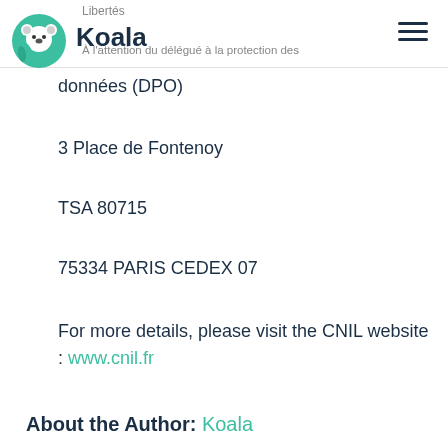Libertés
[Figure (logo): Koala app logo: green circle with a cartoon koala holding leaves, next to bold text 'Koala']
À l'attention du délégué à la protection des données (DPO)
3 Place de Fontenoy
TSA 80715
75334 PARIS CEDEX 07
For more details, please visit the CNIL website : www.cnil.fr
About the Author: Koala